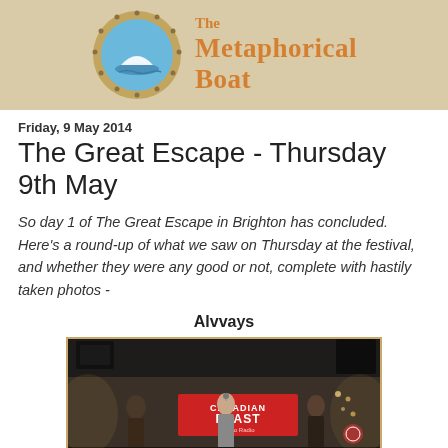The Metaphorical Boat
Friday, 9 May 2014
The Great Escape - Thursday 9th May
So day 1 of The Great Escape in Brighton has concluded. Here's a round-up of what we saw on Thursday at the festival, and whether they were any good or not, complete with hastily taken photos -
Alvvays
[Figure (photo): Concert photo of band performing on stage with a red 'Canadian Blast' banner in background, taken at The Great Escape festival]